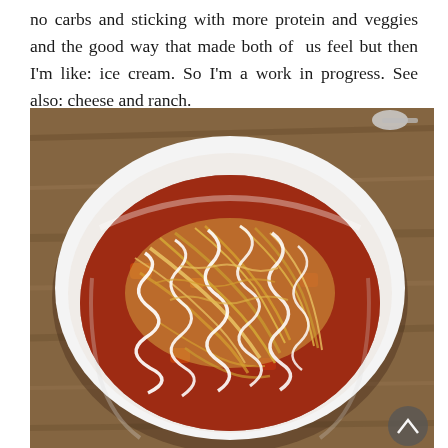no carbs and sticking with more protein and veggies and the good way that made both of us feel but then I'm like: ice cream. So I'm a work in progress. See also: cheese and ranch.
[Figure (photo): A white bowl of chili topped with shredded cheese and white ranch dressing drizzled on top, placed on a wooden table surface.]